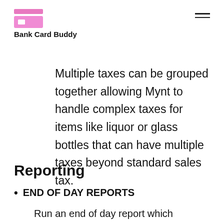Bank Card Buddy
Multiple taxes can be grouped together allowing Mynt to handle complex taxes for items like liquor or glass bottles that can have multiple taxes beyond standard sales tax.
Reporting
END OF DAY REPORTS
Run an end of day report which includes daily sales